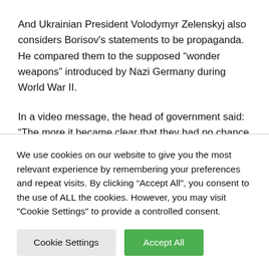And Ukrainian President Volodymyr Zelenskyj also considers Borisov's statements to be propaganda. He compared them to the supposed “wonder weapons” introduced by Nazi Germany during World War II.
In a video message, the head of government said: “The more it became clear that they had no chance in the war, the more talk there was of an alleged weapon that would bring about change.” The fact that Russia is trying to find the “miracle
We use cookies on our website to give you the most relevant experience by remembering your preferences and repeat visits. By clicking “Accept All”, you consent to the use of ALL the cookies. However, you may visit "Cookie Settings" to provide a controlled consent.